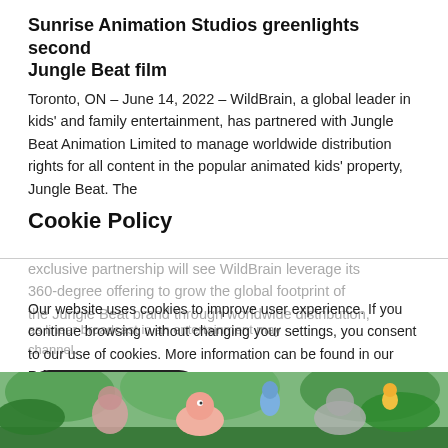Sunrise Animation Studios greenlights second Jungle Beat film
Toronto, ON – June 14, 2022 – WildBrain, a global leader in kids' and family entertainment, has partnered with Jungle Beat Animation Limited to manage worldwide distribution rights for all content in the popular animated kids' property, Jungle Beat. The exclusive partnership will see WildBrain leverage its 360-degree offering to grow the global footprint of the Jungle Beat brand through worldwide distribution,
Cookie Policy
Our website uses cookies to improve user experience. If you continue browsing without changing your settings, you consent to our use of cookies. More information can be found in our Privacy & Cookies Policy.
[Figure (illustration): Animated jungle animals scene from Jungle Beat film, showing colorful cartoon characters including what appears to be a pig, bird, and other animals against a lush green jungle background]